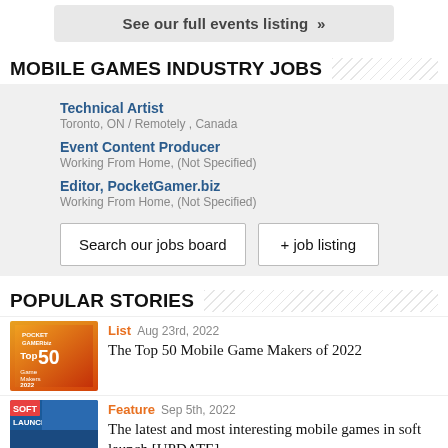See our full events listing »
MOBILE GAMES INDUSTRY JOBS
Technical Artist
Toronto, ON / Remotely , Canada
Event Content Producer
Working From Home, (Not Specified)
Editor, PocketGamer.biz
Working From Home, (Not Specified)
Search our jobs board
+ job listing
POPULAR STORIES
[Figure (illustration): Pocket Gamer Top 50 Game Makers 2022 thumbnail]
List  Aug 23rd, 2022
The Top 50 Mobile Game Makers of 2022
[Figure (illustration): Soft Launch feature thumbnail]
Feature  Sep 5th, 2022
The latest and most interesting mobile games in soft launch [UPDATE]